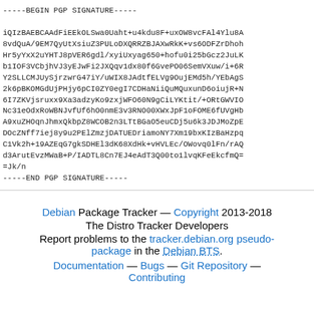-----BEGIN PGP SIGNATURE-----

iQIzBAEBCAAdFiEEkOLSwa0Uaht+u4kdu8F+uxOW8vcFAl4Ylu8A
8vdQuA/9EM7QyUtXsiuZ3PULoDXQRRZBJAXwRkK+vs6ODFZrDhoh
Hr5yYxX2uYHTJ8pVER6gdl/xyiUxyag650+hofu0i25bGcz2JuLK
b1IOF3VCbjhVJ3yEJwFi2JXQqv1dx80f6GvePO06SemVXuw/i+6R
Y2SLLCMJUySjrzwrG47iY/uWIX8JAdtfELVg9OujEMd5h/YEbAgS
2k6pBKOMGdUjPHjy6pCI0ZY0egI7CDHaNiiQuMQuxunD6oiujR+N
6I7ZKVjsruxx9Xa3adzyKo9zxjWFO60N9gCiLYKtit/+ORtGWVIO
Nc31eOdxRoWBNJvfUf6hO0nmE3v3RNO00XWxJpF1oFOME6fUVgHb
A9xuZHOqnJhmxQkbpZ8WCOB2n3LTtBGaO5euCDj5u6k3JDJMoZpE
DOcZNff7iej8y9u2PElZmzjDATUEDriamoNY7Xm19bxKIzBaHzpq
C1Vk2h+19AZEqG7gkSDHEl3dK68XdHk+vHVLEc/OWovq0lFn/rAQ
d3ArutEvzMWaB+P/IADTL8Cn7EJ4eAdT3Q00to1lvqKFeEkcfmQ=
=Jk/n
-----END PGP SIGNATURE-----
Debian Package Tracker — Copyright 2013-2018 The Distro Tracker Developers
Report problems to the tracker.debian.org pseudo-package in the Debian BTS.
Documentation — Bugs — Git Repository — Contributing